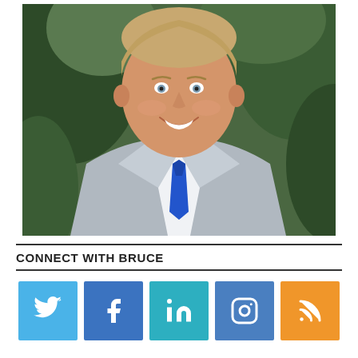[Figure (photo): Professional headshot of a smiling man in a grey suit with a blue tie, outdoors with green foliage background]
CONNECT WITH BRUCE
[Figure (infographic): Row of five social media icons: Twitter (light blue), Facebook (dark blue), LinkedIn (teal/blue), Instagram (dark blue), RSS (orange)]